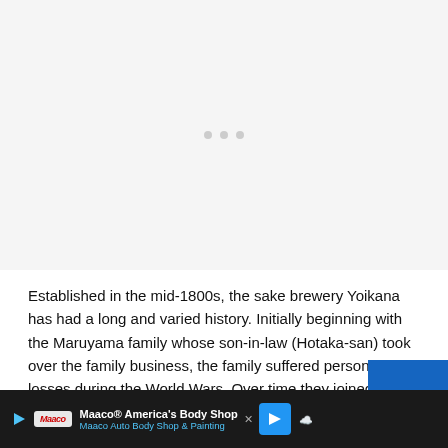[Figure (other): Light gray placeholder image area with three small gray dots in the center indicating content loading]
Established in the mid-1800s, the sake brewery Yoikana has had a long and varied history. Initially beginning with the Maruyama family whose son-in-law (Hotaka-san) took over the family business, the family suffered personal losses during the World Wars. Over time they joined forces with three other families...